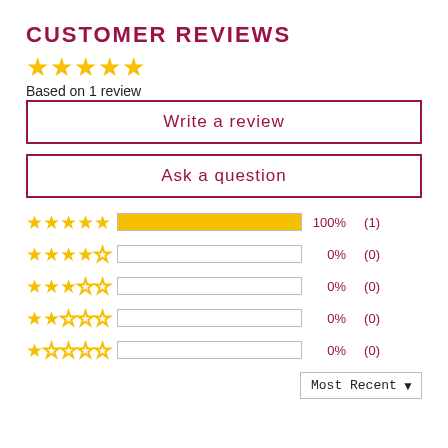CUSTOMER REVIEWS
[Figure (other): 5 filled gold stars rating]
Based on 1 review
Write a review
Ask a question
[Figure (bar-chart): Rating distribution]
Most Recent